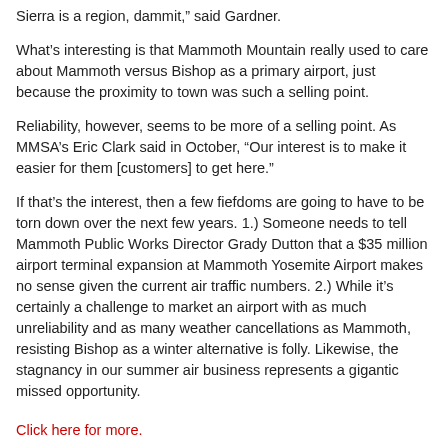Sierra is a region, dammit,” said Gardner.
What’s interesting is that Mammoth Mountain really used to care about Mammoth versus Bishop as a primary airport, just because the proximity to town was such a selling point.
Reliability, however, seems to be more of a selling point. As MMSA’s Eric Clark said in October, “Our interest is to make it easier for them [customers] to get here.”
If that’s the interest, then a few fiefdoms are going to have to be torn down over the next few years. 1.) Someone needs to tell Mammoth Public Works Director Grady Dutton that a $35 million airport terminal expansion at Mammoth Yosemite Airport makes no sense given the current air traffic numbers. 2.) While it’s certainly a challenge to market an airport with as much unreliability and as many weather cancellations as Mammoth, resisting Bishop as a winter alternative is folly. Likewise, the stagnancy in our summer air business represents a gigantic missed opportunity.
Click here for more.